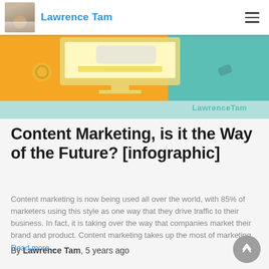Lawrence Tam
[Figure (infographic): Partial view of a colorful infographic with orange and teal background showing a laptop/screen illustration with the text 'LawrenceTam' watermark at bottom right]
Content Marketing, is it the Way of the Future? [infographic]
Content marketing is now being used all over the world, with 85% of marketers using this style as one way that they drive traffic to their business. In fact, it is taking over the way that companies market their brand and product. Content marketing takes up the most of marketing Read more...
By Lawrence Tam, 5 years ago